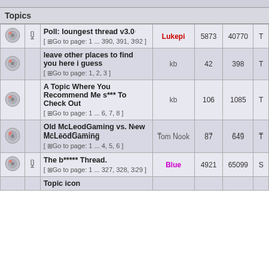Topics
|  |  | Topic | Author | Replies | Views | Last |
| --- | --- | --- | --- | --- | --- | --- |
| [icon] | [attach] | Poll: loungest thread v3.0 [ Go to page: 1 ... 390, 391, 392 ] | Lukepi | 5873 | 40770 | T |
| [icon] |  | leave other places to find you here i guess [ Go to page: 1, 2, 3 ] | kb | 42 | 398 | T |
| [icon] |  | A Topic Where You Recommend Me s*** To Check Out [ Go to page: 1 ... 6, 7, 8 ] | kb | 106 | 1085 | T |
| [icon] |  | Old McLeodGaming vs. New McLeodGaming [ Go to page: 1 ... 4, 5, 6 ] | Tom Nook | 87 | 649 | T |
| [icon] | [attach] | The b***** Thread. [ Go to page: 1 ... 327, 328, 329 ] | Blue | 4921 | 65099 | S |
| [icon] |  | Topic icon |  |  |  |  |